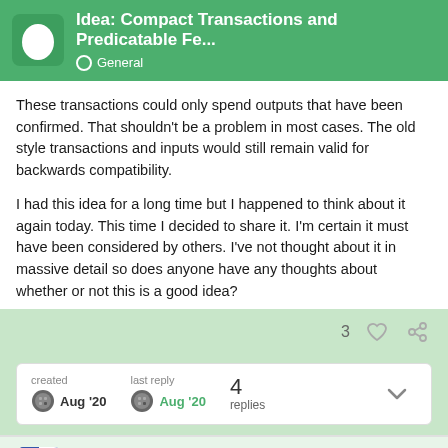Idea: Compact Transactions and Predicatable Fe... — General
These transactions could only spend outputs that have been confirmed. That shouldn't be a problem in most cases. The old style transactions and inputs would still remain valid for backwards compatibility.
I had this idea for a long time but I happened to think about it again today. This time I decided to share it. I'm certain it must have been considered by others. I've not thought about it in massive detail so does anyone have any thoughts about whether or not this is a good idea?
3
created  Aug '20   last reply  Aug '20   4 replies
Nagalim  Core Member   1 / 5